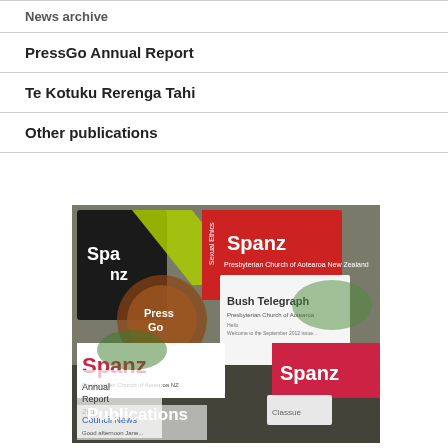News archive
PressGo Annual Report
Te Kotuku Rerenga Tahi
Other publications
[Figure (photo): Collage of various publications including Spanz magazines, Bush Telegraph, PressGo, Annual Report, and Council News newsletters, with 'Publications' text overlay at the bottom left]